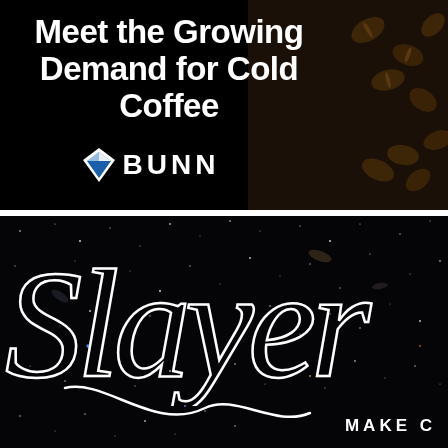Meet the Growing Demand for Cold Coffee
[Figure (logo): BUNN logo with diamond/gem icon in blue and white on black background]
[Figure (photo): Bottom section showing a space/galaxy background with large cursive white script text reading 'Slayer' and smaller text 'MAKE C' visible at bottom right]